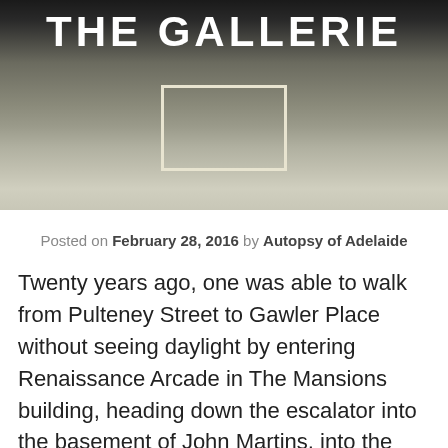[Figure (photo): Photograph showing the exterior or interior of The Gallerie building, with a title text overlay reading 'THE GALLERIE' in large white bold uppercase letters. The image shows concrete surfaces and architectural details.]
Posted on February 28, 2016 by Autopsy of Adelaide
Twenty years ago, one was able to walk from Pulteney Street to Gawler Place without seeing daylight by entering Renaissance Arcade in The Mansions building, heading down the escalator into the basement of John Martins, into the food court of The Gallerie Arcade and then up the stairs into Gawler Place.  Of course, this all changed in 1998 with the closure and subsequent demolition of John Martin's department store.